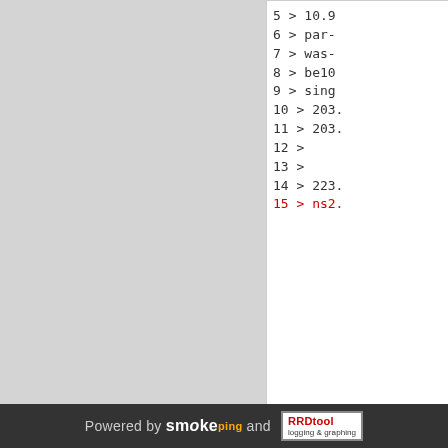[Figure (screenshot): Code/terminal output box (top) showing numbered lines 5-15 with network/traceroute-style output. Line 15 is highlighted in red.]
[Figure (screenshot): Code/terminal output box (bottom) showing numbered lines 3-14 with network/traceroute-style output.]
Powered by smoke ping and RRDtool